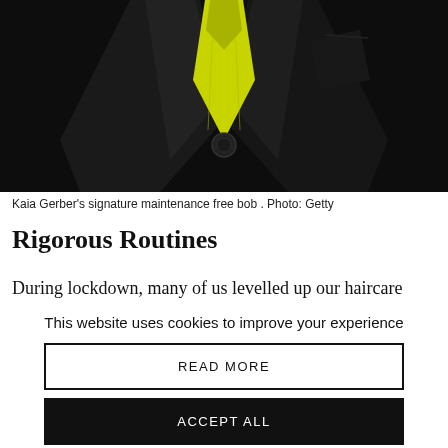[Figure (photo): Close-up photo of a person wearing a black suit jacket with a bright yellow/chartreuse tie visible at the neckline, dark background]
Kaia Gerber’s signature maintenance free bob . Photo: Getty
Rigorous Routines
During lockdown, many of us levelled up our haircare
This website uses cookies to improve your experience
READ MORE
ACCEPT ALL
Settings